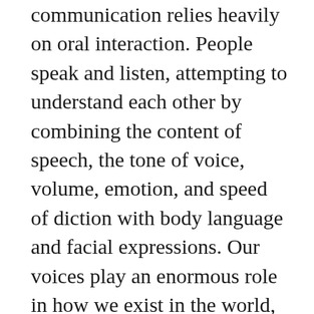communication relies heavily on oral interaction. People speak and listen, attempting to understand each other by combining the content of speech, the tone of voice, volume, emotion, and speed of diction with body language and facial expressions. Our voices play an enormous role in how we exist in the world, and define not only our outward communications, but also the way we process, express, and explore things internally. These two areas are deeply interrelated – our external expression and communications may shape our internal feelings and understandings of the world, while our internal dynamics may impact our